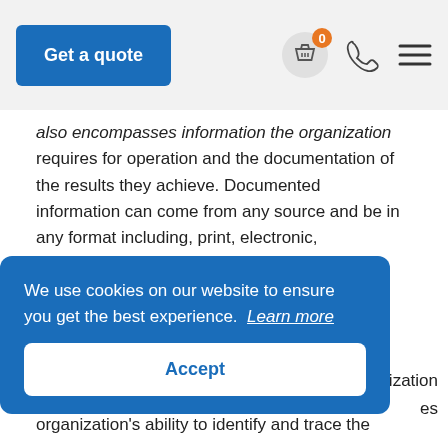Get a quote
also encompasses information the organization requires for operation and the documentation of the results they achieve. Documented information can come from any source and be in any format including, print, electronic, photograph or master sample.
Performance. The performance indicates measurable results that an organization achieves through its activities, processes,
ization
es
We use cookies on our website to ensure you get the best experience. Learn more
Accept
organization's ability to identify and trace the